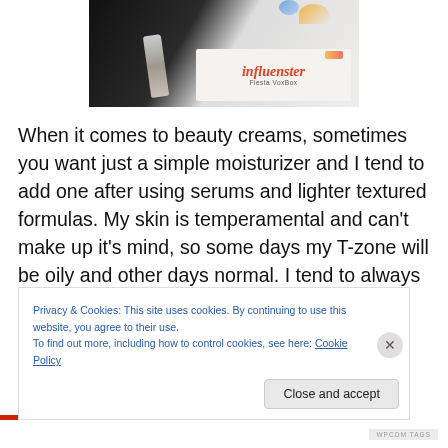[Figure (photo): Photo of an Influenster Fiesta VoxBox package with a skincare product tube, on a white card with colorful ribbon decoration. The box shows the Influenster logo in red italic script and 'Fiesta VoxBox' subtitle.]
When it comes to beauty creams, sometimes you want just a simple moisturizer and I tend to add one after using serums and lighter textured formulas. My skin is temperamental and can't make up it's mind, so some days my T-zone will be oily and other days normal. I tend to always purchase products that will satisfy both because I
Privacy & Cookies: This site uses cookies. By continuing to use this website, you agree to their use.
To find out more, including how to control cookies, see here: Cookie Policy
Close and accept